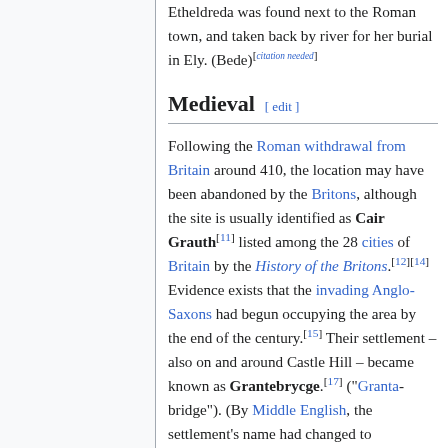Etheldreda was found next to the Roman town, and taken back by river for her burial in Ely. (Bede)[citation needed]
Medieval [ edit ]
Following the Roman withdrawal from Britain around 410, the location may have been abandoned by the Britons, although the site is usually identified as Cair Grauth[11] listed among the 28 cities of Britain by the History of the Britons.[12][14] Evidence exists that the invading Anglo-Saxons had begun occupying the area by the end of the century.[15] Their settlement – also on and around Castle Hill – became known as Grantebrycge.[17] ("Granta-bridge"). (By Middle English, the settlement's name had changed to "Cambridge", and the lower stretches of the Granta changed their name to match.[18] Anglo-